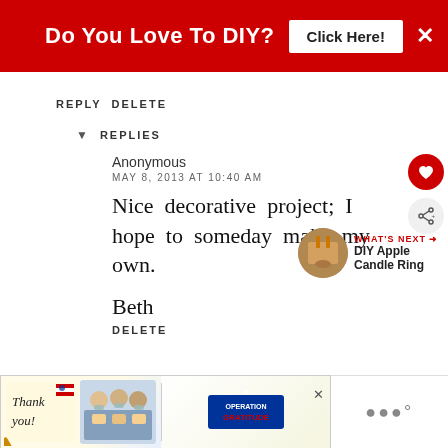Do You Love To DIY?  Click Here!
REPLY DELETE
REPLIES
Anonymous
MAY 8, 2013 AT 10:40 AM
Nice decorative project; I hope to someday make my own.
Beth
DELETE
WHAT'S NEXT → DIY Apple Candle Ring
[Figure (photo): Advertisement for Operation Gratitude with thank you note and medical workers photo]